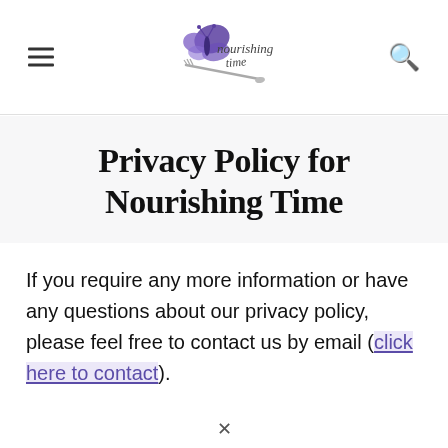[Figure (logo): Nourishing Time logo with butterfly and fork/spoon graphic, purple butterfly above text 'nourishing time']
Privacy Policy for Nourishing Time
If you require any more information or have any questions about our privacy policy, please feel free to contact us by email (click here to contact).